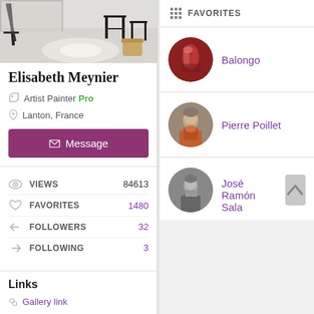[Figure (photo): Studio interior photo showing white floor, stools, and a wicker basket]
Elisabeth Meynier
Artist Painter Pro
Lanton, France
Message
VIEWS 84613
FAVORITES 1480
FOLLOWERS 32
FOLLOWING 3
Links
Gallery link
FAVORITES
[Figure (photo): Round avatar photo of Balongo - colorful figurative painting]
Balongo
[Figure (photo): Round avatar photo of Pierre Poillet - portrait of a man]
Pierre Poillet
[Figure (photo): Round avatar photo of José Ramón Sala - black and white photo]
José Ramón Sala